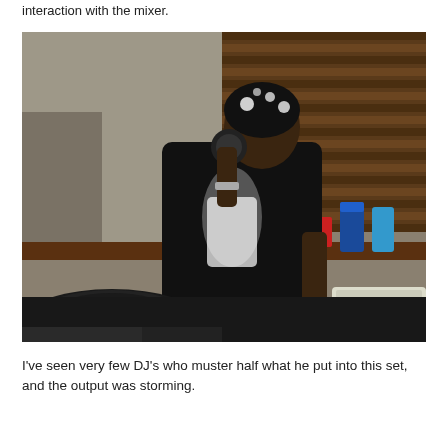interaction with the mixer.
[Figure (photo): A DJ wearing a black t-shirt with a printed figure on it and a black and white patterned du-rag, holding a headphone to his ear and looking down at turntables. Behind him is a window with brown blinds, and a ledge with water bottles and cups. A laptop is visible on the right side.]
I've seen very few DJ's who muster half what he put into this set, and the output was storming.